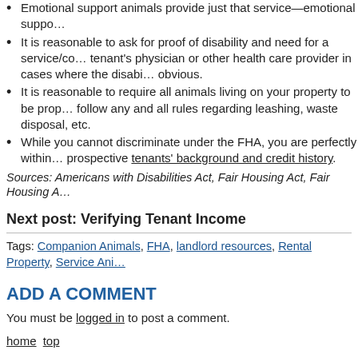Emotional support animals provide just that service—emotional suppo…
It is reasonable to ask for proof of disability and need for a service/co… tenant's physician or other health care provider in cases where the disabi… obvious.
It is reasonable to require all animals living on your property to be prop… follow any and all rules regarding leashing, waste disposal, etc.
While you cannot discriminate under the FHA, you are perfectly within… prospective tenants' background and credit history.
Sources: Americans with Disabilities Act, Fair Housing Act, Fair Housing A…
Next post: Verifying Tenant Income
Tags: Companion Animals, FHA, landlord resources, Rental Property, Service Ani…
ADD A COMMENT
You must be logged in to post a comment.
home top